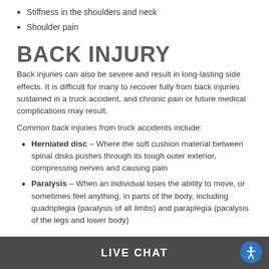Stiffness in the shoulders and neck
Shoulder pain
BACK INJURY
Back injuries can also be severe and result in long-lasting side effects. It is difficult for many to recover fully from back injuries sustained in a truck accident, and chronic pain or future medical complications may result.
Common back injuries from truck accidents include:
Herniated disc – Where the soft cushion material between spinal disks pushes through its tough outer exterior, compressing nerves and causing pain
Paralysis – When an individual loses the ability to move, or sometimes feel anything, in parts of the body, including quadriplegia (paralysis of all limbs) and paraplegia (paralysis of the legs and lower body)
LIVE CHAT